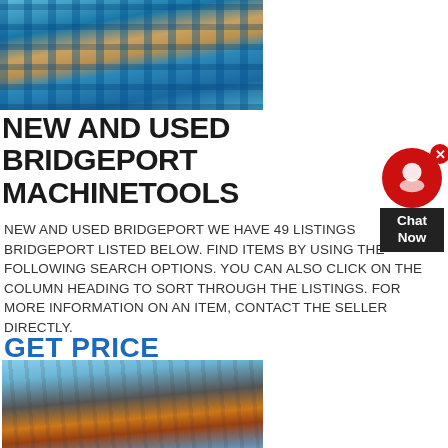[Figure (photo): Industrial machinery with blue metal framework and orange/yellow components in a warehouse or industrial setting]
NEW AND USED BRIDGEPORT MACHINETOOLS
NEW AND USED BRIDGEPORT WE HAVE 49 LISTINGS BRIDGEPORT LISTED BELOW. FIND ITEMS BY USING THE FOLLOWING SEARCH OPTIONS. YOU CAN ALSO CLICK ON THE COLUMN HEADING TO SORT THROUGH THE LISTINGS. FOR MORE INFORMATION ON AN ITEM, CONTACT THE SELLER DIRECTLY.
GET PRICE
[Figure (photo): Industrial crusher or mining equipment photographed from below against a blue sky, with orange and grey metallic components and scaffolding]